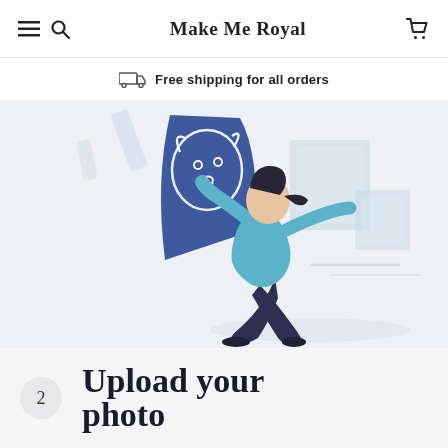Make Me Royal
Free shipping for all orders
[Figure (illustration): Illustration of a woman in a teal top and dark pants carrying a large blue painting/canvas with a dog portrait on it, walking past framed wall art placeholders on a light background.]
2  Upload your photo